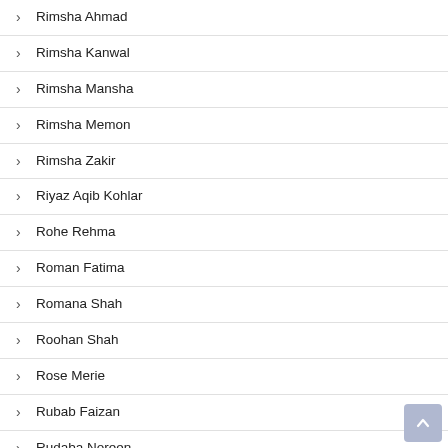› Rimsha Ahmad
› Rimsha Kanwal
› Rimsha Mansha
› Rimsha Memon
› Rimsha Zakir
› Riyaz Aqib Kohlar
› Rohe Rehma
› Roman Fatima
› Romana Shah
› Roohan Shah
› Rose Merie
› Rubab Faizan
› Rudaba Noreen
› Rukhsana Aziz Malik
› Rukhsana Nigar Adnan